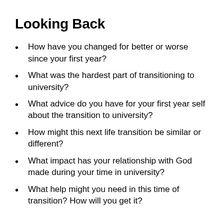Looking Back
How have you changed for better or worse since your first year?
What was the hardest part of transitioning to university?
What advice do you have for your first year self about the transition to university?
How might this next life transition be similar or different?
What impact has your relationship with God made during your time in university?
What help might you need in this time of transition? How will you get it?